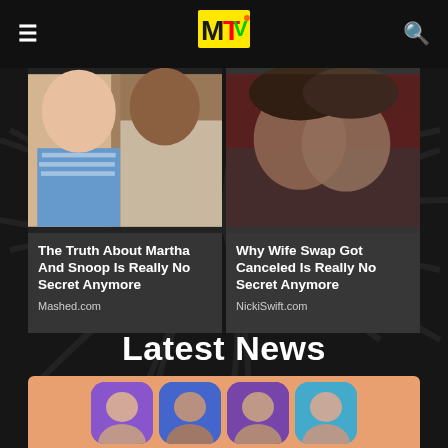[Figure (logo): MTV logo in yellow with multi-color letters]
[Figure (photo): Article thumbnail: Martha Stewart and Snoop Dogg]
The Truth About Martha And Snoop Is Really No Secret Anymore
Mashed.com
[Figure (photo): Article thumbnail: couple kissing, Wife Swap]
Why Wife Swap Got Canceled Is Really No Secret Anymore
NickiSwift.com
Latest News
[Figure (photo): Partial view of group photo with avatar bubbles on orange background]